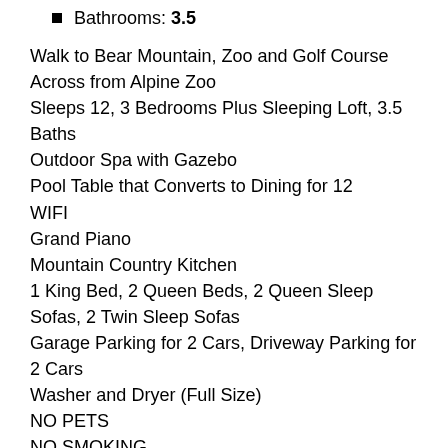Bathrooms: 3.5
Walk to Bear Mountain, Zoo and Golf Course
Across from Alpine Zoo
Sleeps 12, 3 Bedrooms Plus Sleeping Loft, 3.5 Baths
Outdoor Spa with Gazebo
Pool Table that Converts to Dining for 12
WIFI
Grand Piano
Mountain Country Kitchen
1 King Bed, 2 Queen Beds, 2 Queen Sleep Sofas, 2 Twin Sleep Sofas
Garage Parking for 2 Cars, Driveway Parking for 2 Cars
Washer and Dryer (Full Size)
NO PETS
NO SMOKING
View more photos, check availability and book Bear